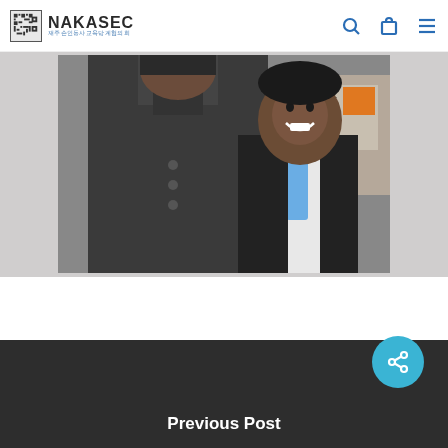NAKASEC 재주손인동사교육당계협의회
[Figure (photo): Two people standing outdoors — one wearing a dark coat, one a young boy in a suit vest with a blue tie, smiling.]
Previous Post